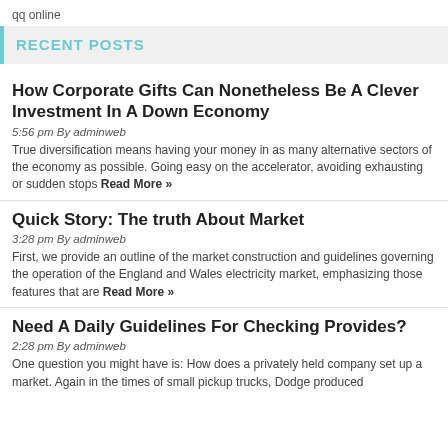qq online
RECENT POSTS
How Corporate Gifts Can Nonetheless Be A Clever Investment In A Down Economy
5:56 pm By adminweb
True diversification means having your money in as many alternative sectors of the economy as possible. Going easy on the accelerator, avoiding exhausting or sudden stops Read More »
Quick Story: The truth About Market
3:28 pm By adminweb
First, we provide an outline of the market construction and guidelines governing the operation of the England and Wales electricity market, emphasizing those features that are Read More »
Need A Daily Guidelines For Checking Provides?
2:28 pm By adminweb
One question you might have is: How does a privately held company set up a market. Again in the times of small pickup trucks, Dodge produced